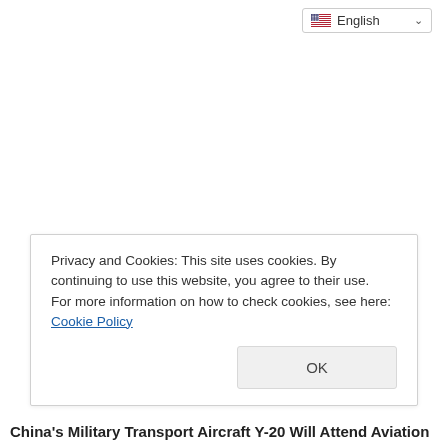[Figure (screenshot): Language selector dropdown button showing US flag and 'English' label with chevron, positioned top-right of page]
Privacy and Cookies: This site uses cookies. By continuing to use this website, you agree to their use.
For more information on how to check cookies, see here: Cookie Policy
OK
China's Military Transport Aircraft Y-20 Will Attend Aviation